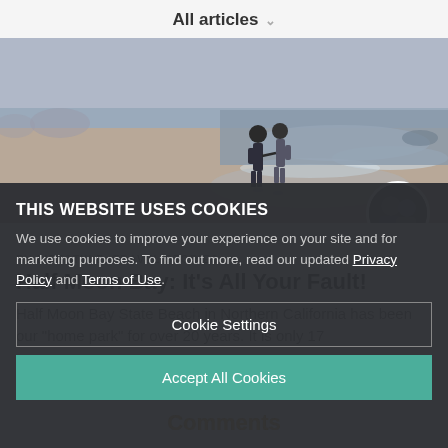All articles
[Figure (photo): Two people holding hands walking along a beach with ocean waves in the background. A circular avatar photo of two people is overlaid at the bottom right of the image.]
RV LIFESTYLE, TRAVEL STORIES
Half Moon Bay: It's All Your Fault!
Half Moon Bay State Beach in Northern California has been our "home park" for over 20 years. It is only 17
THIS WEBSITE USES COOKIES
We use cookies to improve your experience on your site and for marketing purposes. To find out more, read our updated Privacy Policy and Terms of Use.
Cookie Settings
Accept All Cookies
Comments